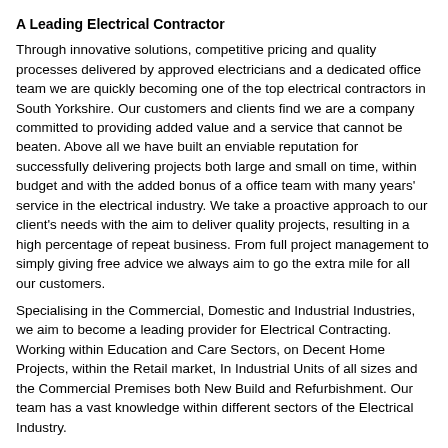A Leading Electrical Contractor
Through innovative solutions, competitive pricing and quality processes delivered by approved electricians and a dedicated office team we are quickly becoming one of the top electrical contractors in South Yorkshire. Our customers and clients find we are a company committed to providing added value and a service that cannot be beaten. Above all we have built an enviable reputation for successfully delivering projects both large and small on time, within budget and with the added bonus of a office team with many years' service in the electrical industry. We take a proactive approach to our client's needs with the aim to deliver quality projects, resulting in a high percentage of repeat business. From full project management to simply giving free advice we always aim to go the extra mile for all our customers.
Specialising in the Commercial, Domestic and Industrial Industries, we aim to become a leading provider for Electrical Contracting. Working within Education and Care Sectors, on Decent Home Projects, within the Retail market, In Industrial Units of all sizes and the Commercial Premises both New Build and Refurbishment. Our team has a vast knowledge within different sectors of the Electrical Industry.
Our Geographical Coverage
A Coole Electrical covers a large geographical area, travelling where our clients require us to. Our Geographical area is from Newcastle, over to the East and West Coast,  and down to London. Covering all of Yorkshire West Yorkshire, South Yorkshire, North Yorkshire, East Yorkshire, Our goal  is to deliver a service that bests suits our customers and clients..